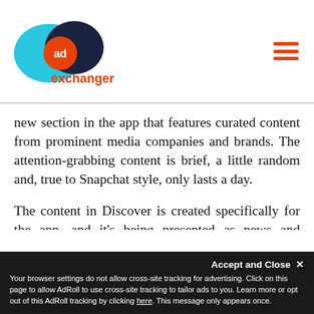AdExchanger logo and navigation
new section in the app that features curated content from prominent media companies and brands. The attention-grabbing content is brief, a little random and, true to Snapchat style, only lasts a day.
The content in Discover is created specifically for the app, and it's being presented as news and entertainment, sort of like receiving a dozen mini magazines in the mail every day. The focus is not on the ads, which is clever because it's sponsored content that doesn't feel sponsored.
Accept and Close ✕ Your browser settings do not allow cross-site tracking for advertising. Click on this page to allow AdRoll to use cross-site tracking to tailor ads to you. Learn more or opt out of this AdRoll tracking by clicking here. This message only appears once.